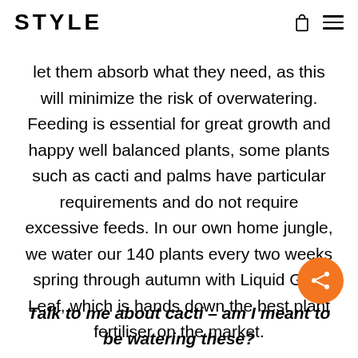STYLE
let them absorb what they need, as this will minimize the risk of overwatering. Feeding is essential for great growth and happy well balanced plants, some plants such as cacti and palms have particular requirements and do not require excessive feeds. In our own home jungle, we water our 140 plants every two weeks spring through autumn with Liquid Gold Leaf, which is hands down the best plant fertiliser on the market.
Talk to me about cacti – am I meant to be watering these?